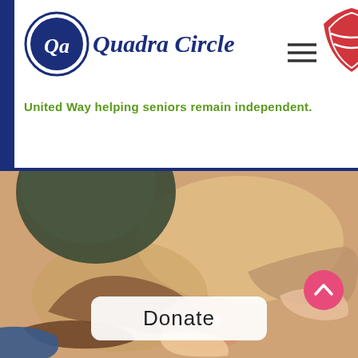[Figure (logo): Quadra Circle logo with circular emblem and italic serif text 'Quadra Circle' in dark navy blue]
[Figure (logo): United Way logo - partial red circular logo visible at top right]
United Way helping seniors remain independent.
[Figure (photo): Overhead photo of multiple hands stacked together in unity gesture, various skin tones and clothing visible]
Donate